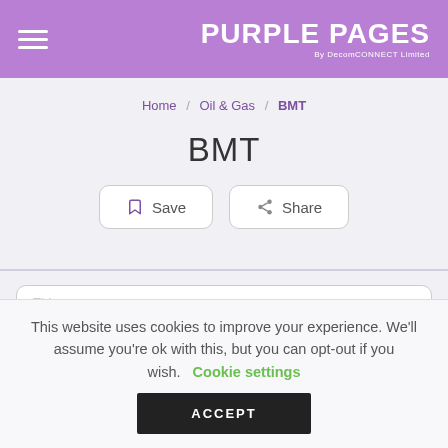PURPLE PAGES By DecomCONNECT Limited
Home / Oil & Gas / BMT
BMT
Save
Share
This website uses cookies to improve your experience. We'll assume you're ok with this, but you can opt-out if you wish. Cookie settings ACCEPT